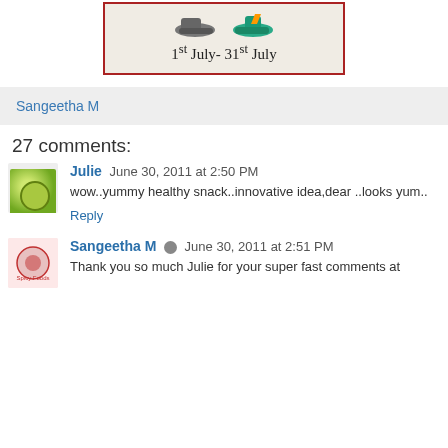[Figure (illustration): Banner/flyer image with shoes illustration and text '1st July- 31st July' inside a dark red bordered box with beige background]
Sangeetha M
27 comments:
Julie  June 30, 2011 at 2:50 PM
wow..yummy healthy snack..innovative idea,dear ..looks yum..
Reply
Sangeetha M  June 30, 2011 at 2:51 PM
Thank you so much Julie for your super fast comments at